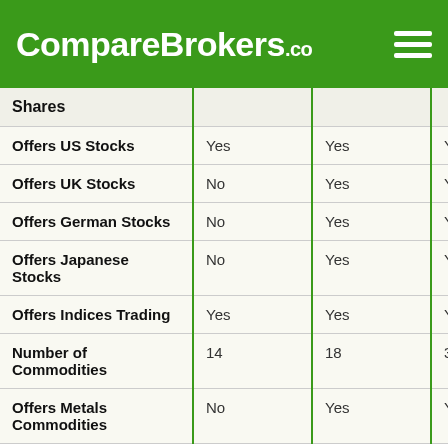CompareBrokers.co
|  |  |  |  |
| --- | --- | --- | --- |
| Shares |  |  |  |
| Offers US Stocks | Yes | Yes | Yes |
| Offers UK Stocks | No | Yes | Yes |
| Offers German Stocks | No | Yes | Yes |
| Offers Japanese Stocks | No | Yes | Yes |
| Offers Indices Trading | Yes | Yes | Yes |
| Number of Commodities | 14 | 18 | 31 |
| Offers Metals Commodities | No | Yes | Yes |